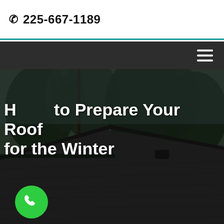225-667-1189
[Figure (screenshot): Dark navigation bar with hamburger menu icon on the right]
[Figure (photo): Aerial view of a dark residential rooftop with green trees in the background, dusk lighting]
How to Prepare Your Roof for the Winter